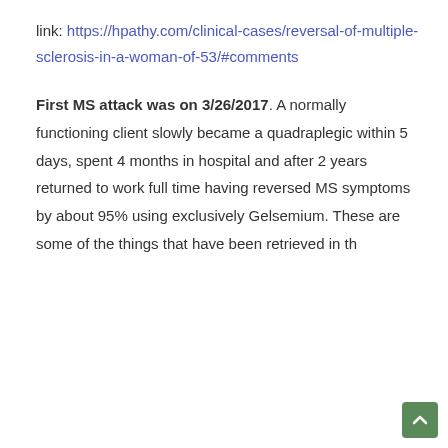link: https://hpathy.com/clinical-cases/reversal-of-multiple-sclerosis-in-a-woman-of-53/#comments
First MS attack was on 3/26/2017. A normally functioning client slowly became a quadraplegic within 5 days, spent 4 months in hospital and after 2 years returned to work full time having reversed MS symptoms by about 95% using exclusively Gelsemium. These are some of the things that have been retrieved in the...